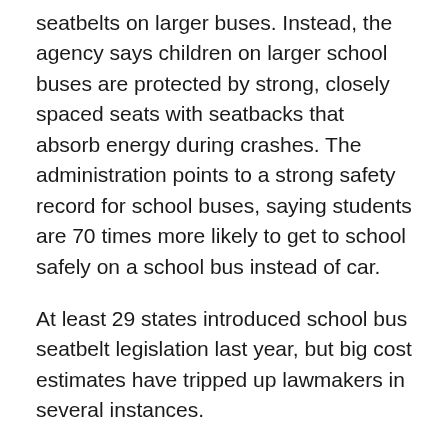seatbelts on larger buses. Instead, the agency says children on larger school buses are protected by strong, closely spaced seats with seatbacks that absorb energy during crashes. The administration points to a strong safety record for school buses, saying students are 70 times more likely to get to school safely on a school bus instead of car.
At least 29 states introduced school bus seatbelt legislation last year, but big cost estimates have tripped up lawmakers in several instances.
The NTSB's recommendations are contained in a report on two deadly school bus crashes in November 2016, one in Chattanooga, Tennessee, and the other in Baltimore.